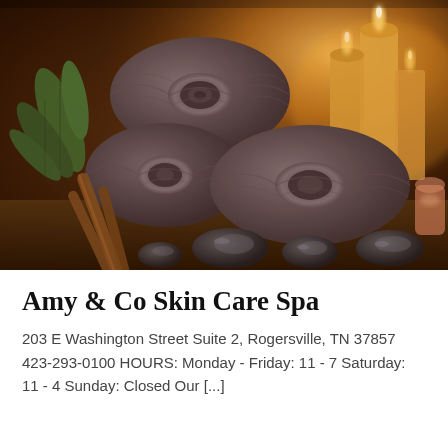[Figure (photo): Spa-themed photo showing three rolled dark grey/charcoal towels stacked together, surrounded by glowing candles in the background (warm amber light), green eucalyptus leaves on the left, cinnamon sticks, smooth dark river stones, and a small pink salt lamp or stone on the right side. The overall mood is warm, relaxing, and luxurious.]
Amy & Co Skin Care Spa
203 E Washington Street Suite 2, Rogersville, TN 37857 423-293-0100 HOURS: Monday - Friday: 11 - 7 Saturday: 11 - 4 Sunday: Closed Our [...]